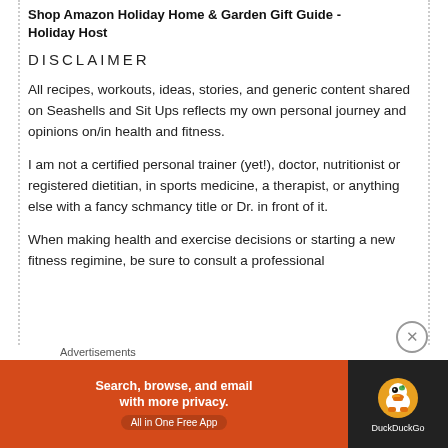Shop Amazon Holiday Home & Garden Gift Guide - Holiday Host
DISCLAIMER
All recipes, workouts, ideas, stories, and generic content shared on Seashells and Sit Ups reflects my own personal journey and opinions on/in health and fitness.
I am not a certified personal trainer (yet!), doctor, nutritionist or registered dietitian, in sports medicine, a therapist, or anything else with a fancy schmancy title or Dr. in front of it.
When making health and exercise decisions or starting a new fitness regimine, be sure to consult a professional
Advertisements
[Figure (screenshot): DuckDuckGo advertisement banner: orange left panel with text 'Search, browse, and email with more privacy. All in One Free App' and dark right panel with DuckDuckGo logo and duck icon.]